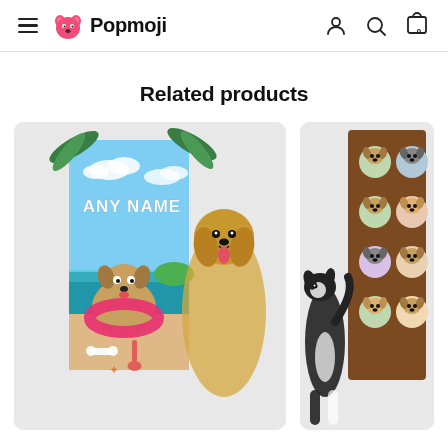Popmoji — navigation header with hamburger menu, logo, user, search, and cart icons
Related products
[Figure (photo): Product photo: a beach-themed personalized towel with cartoon dog and 'ANY NAME' text, displayed next to a golden retriever dog]
[Figure (photo): Product photo: a brown blanket with repeated cartoon dog face pattern, displayed next to a border collie dog (partially visible, cropped at right edge)]